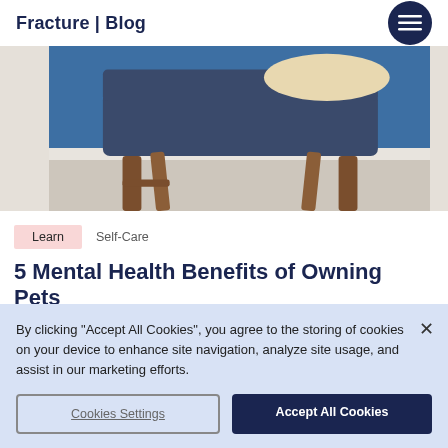Fracture | Blog
[Figure (photo): A chair with wooden legs against a blue wall, with a light-colored floor visible below]
Learn   Self-Care
5 Mental Health Benefits of Owning Pets
By clicking “Accept All Cookies”, you agree to the storing of cookies on your device to enhance site navigation, analyze site usage, and assist in our marketing efforts.
Cookies Settings   Accept All Cookies